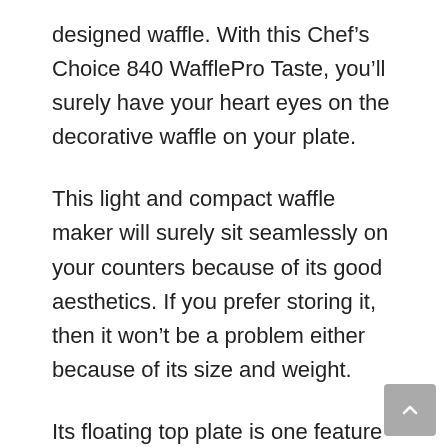designed waffle. With this Chef's Choice 840 WafflePro Taste, you'll surely have your heart eyes on the decorative waffle on your plate.
This light and compact waffle maker will surely sit seamlessly on your counters because of its good aesthetics. If you prefer storing it, then it won't be a problem either because of its size and weight.
Its floating top plate is one feature that this machine prides itself in. This ensures even browning of your whole waffle. Also, this can heat pretty quickly, hence you can start making